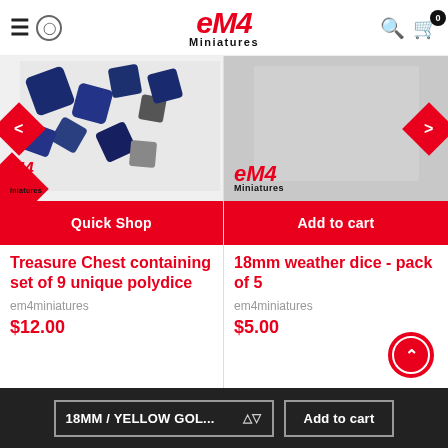eM4 Miniatures
[Figure (screenshot): Left product image showing blue polydice scattered on a surface with eM4 Miniatures logo overlay and navigation arrow]
Quick Shop
Treasure Chest containing set of 9 unique polydice
em4miniatures
$12.00
[Figure (screenshot): Right product image showing grey/placeholder background with eM4 Miniatures logo and navigation arrow]
Add to cart
18mm weather dice - pack of 5
em4miniatures
$5.00
18MM / YELLOW GOL...  Add to cart